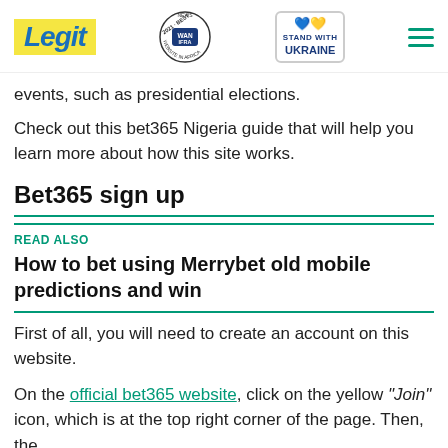Legit | WAN IFRA 2021 Best News Website in Africa | Stand With Ukraine
events, such as presidential elections.
Check out this bet365 Nigeria guide that will help you learn more about how this site works.
Bet365 sign up
READ ALSO
How to bet using Merrybet old mobile predictions and win
First of all, you will need to create an account on this website.
On the official bet365 website, click on the yellow "Join" icon, which is at the top right corner of the page. Then, the